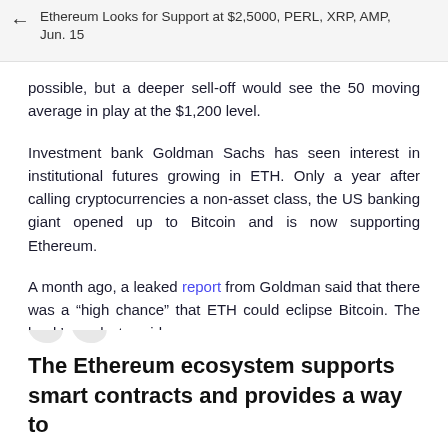Ethereum Looks for Support at $2,5000, PERL, XRP, AMP, Jun. 15
possible, but a deeper sell-off would see the 50 moving average in play at the $1,200 level.
Investment bank Goldman Sachs has seen interest in institutional futures growing in ETH. Only a year after calling cryptocurrencies a non-asset class, the US banking giant opened up to Bitcoin and is now supporting Ethereum.
A month ago, a leaked report from Goldman said that there was a “high chance” that ETH could eclipse Bitcoin. The bank’s analysts said:
The Ethereum ecosystem supports smart contracts and provides a way to